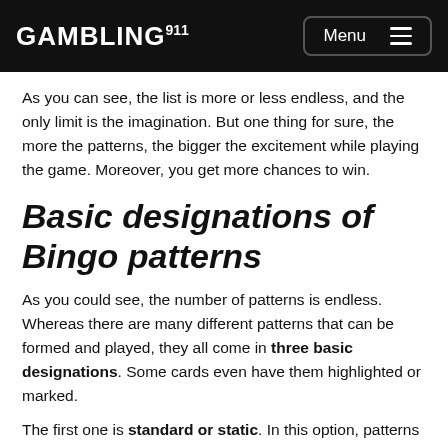GAMBLING911 Menu
As you can see, the list is more or less endless, and the only limit is the imagination. But one thing for sure, the more the patterns, the bigger the excitement while playing the game. Moreover, you get more chances to win.
Basic designations of Bingo patterns
As you could see, the number of patterns is endless. Whereas there are many different patterns that can be formed and played, they all come in three basic designations. Some cards even have them highlighted or marked.
The first one is standard or static. In this option, patterns cannot be moved or shifted, they are found...